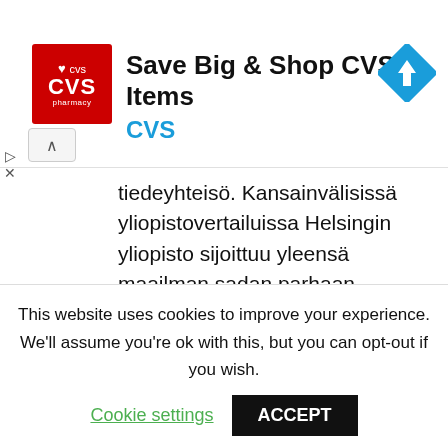[Figure (other): CVS Pharmacy advertisement banner with red logo, navigation icon, text 'Save Big & Shop CVS® Items' and 'CVS']
tiedeyhteisö. Kansainvälisissä yliopistovertailuissa Helsingin yliopisto sijoittuu yleensä maailman sadan parhaan yliopiston joukkoon. Helsingin yliopisto etsii ratkaisuja...
Apulaisprofessori /professori (käsityötiede ja käsityön pedagogiikka)
This website uses cookies to improve your experience. We'll assume you're ok with this, but you can opt-out if you wish.
Cookie settings   ACCEPT